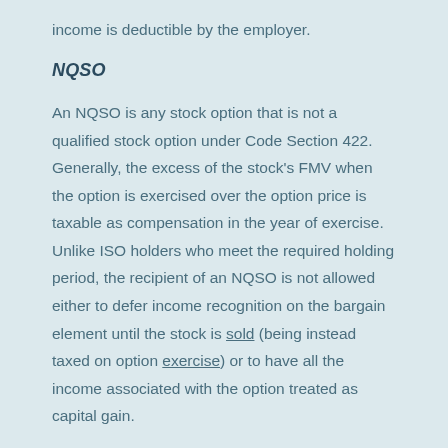income is deductible by the employer.
NQSO
An NQSO is any stock option that is not a qualified stock option under Code Section 422. Generally, the excess of the stock's FMV when the option is exercised over the option price is taxable as compensation in the year of exercise. Unlike ISO holders who meet the required holding period, the recipient of an NQSO is not allowed either to defer income recognition on the bargain element until the stock is sold (being instead taxed on option exercise) or to have all the income associated with the option treated as capital gain.
Non-qualified stock options can be granted with an